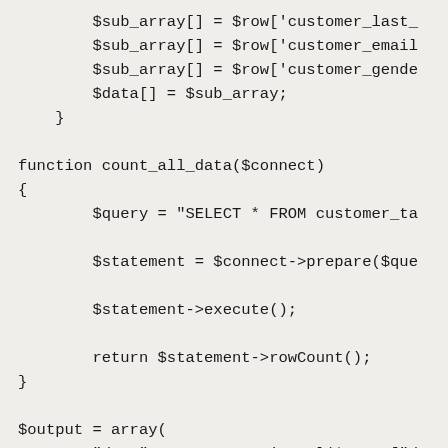$sub_array[] = $row['customer_last_
        $sub_array[] = $row['customer_email
        $sub_array[] = $row['customer_gende
        $data[] = $sub_array;
    }

function count_all_data($connect)
{
        $query = "SELECT * FROM customer_ta

        $statement = $connect->prepare($que

        $statement->execute();

        return $statement->rowCount();
}

$output = array(
        "draw"         =>  intval($_POST["dra
        "recordsTotal" =>  count_all_data(